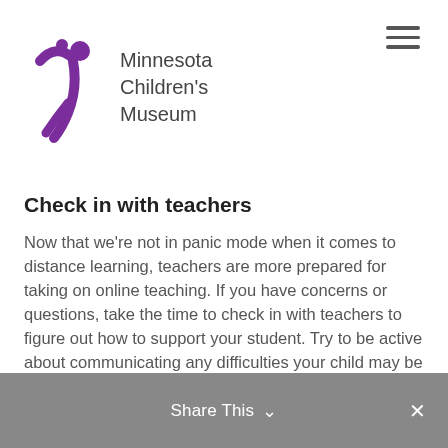[Figure (logo): Minnesota Children's Museum logo — purple figure with raised arm and dot, with text 'Minnesota Children's Museum']
Check in with teachers
Now that we’re not in panic mode when it comes to distance learning, teachers are more prepared for taking on online teaching. If you have concerns or questions, take the time to check in with teachers to figure out how to support your student. Try to be active about communicating any difficulties your child may be facing to figure out a plan of action to help reduce them.
Let kids be independent
Share This